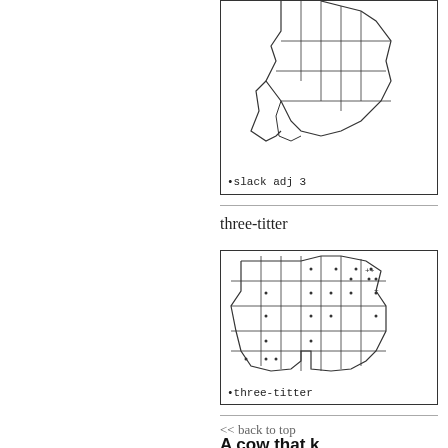[Figure (map): Partial map showing regional boundaries, cropped at top. Label reads '•slack adj 3']
•slack adj 3
three-titter
[Figure (map): Map showing subdivided regions with small dot markers and plus signs scattered across areas. Label reads '•three-titter']
•three-titter
<< back to top
A cow that k